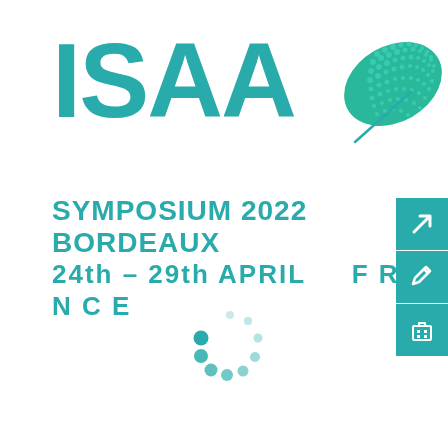[Figure (logo): ISAA logo with large teal letters 'ISAA' and a stylized green leaf with dot pattern, plus subtitle 'SYMPOSIUM 2022 BORDEAUX' and '24th - 29th APRIL FRANCE' in teal. Three teal sidebar buttons with icons (arrow, pencil, building) on the right edge. A loading spinner of teal dots in the lower center area.]